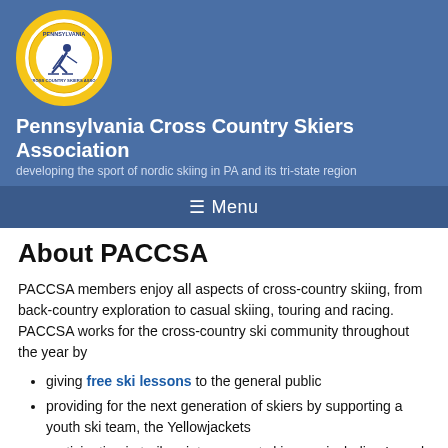[Figure (logo): Pennsylvania Cross Country Skiers Association circular logo with gold ring border, white inner circle, and illustration of cross-country skier]
Pennsylvania Cross Country Skiers Association
developing the sport of nordic skiing in PA and its tri-state region
≡ Menu
About PACCSA
PACCSA members enjoy all aspects of cross-country skiing, from back-country exploration to casual skiing, touring and racing.  PACCSA works for the cross-country ski community throughout the year by
giving free ski lessons to the general public
providing for the next generation of skiers by supporting a youth ski team, the Yellowjackets
participating in trail maintenance at ski areas including Laurel Mountain, Laurel Ridge, and Wilderness